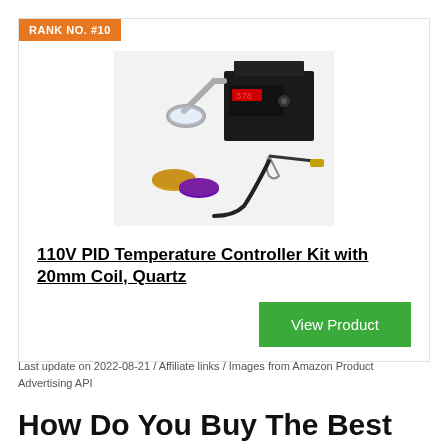RANK NO. #10
[Figure (photo): Product photo of 110V PID Temperature Controller Kit with 20mm Coil and Quartz banger, showing a black electronic controller unit with digital display, quartz banger, coil, and colored silicone containers on white background.]
110V PID Temperature Controller Kit with 20mm Coil, Quartz
View Product
Last update on 2022-08-21 / Affiliate links / Images from Amazon Product Advertising API
How Do You Buy The Best